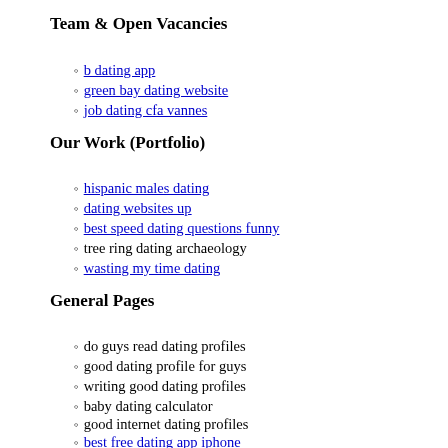Team & Open Vacancies
b dating app
green bay dating website
job dating cfa vannes
Our Work (Portfolio)
hispanic males dating
dating websites up
best speed dating questions funny
tree ring dating archaeology
wasting my time dating
General Pages
do guys read dating profiles
good dating profile for guys
writing good dating profiles
baby dating calculator
good internet dating profiles
best free dating app iphone
sample good female dating profiles